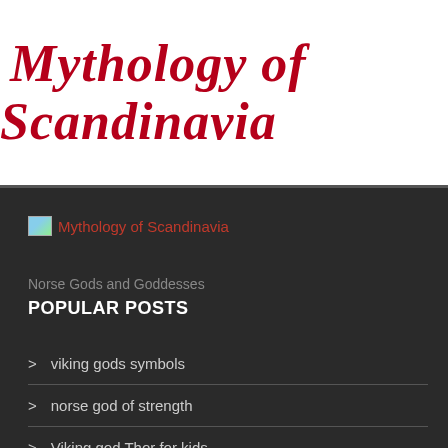Mythology of Scandinavia
[Figure (logo): Small thumbnail image (broken/placeholder) next to red link text 'Mythology of Scandinavia' on dark background]
Norse Gods and Goddesses
POPULAR POSTS
viking gods symbols
norse god of strength
Viking god Thor for kids